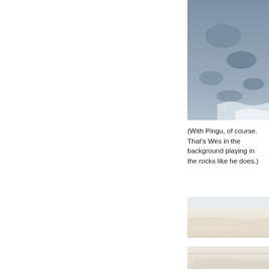[Figure (photo): Aerial or close-up view of blue-grey rocky ocean or water surface with white foam/waves visible at the bottom-right of the image. The image is cropped at the top and right edges of the page.]
(With Pingu, of course. That's Wes in the background playing in the rocks like he does.)
[Figure (photo): A beach scene showing white sand and what appears to be a pale sandy beach with a horizon line. Image partially visible at the right side of the page.]
[Figure (photo): Another beach or coastal scene partially visible at the bottom-right corner of the page.]